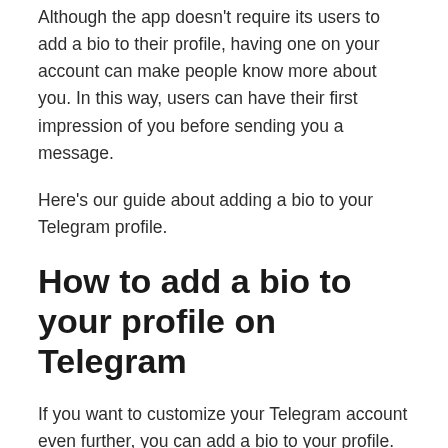Although the app doesn't require its users to add a bio to their profile, having one on your account can make people know more about you. In this way, users can have their first impression of you before sending you a message.
Here's our guide about adding a bio to your Telegram profile.
How to add a bio to your profile on Telegram
If you want to customize your Telegram account even further, you can add a bio to your profile. You can add your hobbies or briefly introduce yourself on your profile so